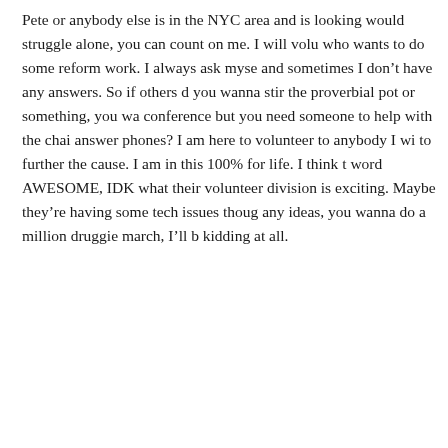Pete or anybody else is in the NYC area and is looking would struggle alone, you can count on me. I will volu who wants to do some reform work. I always ask myse and sometimes I don't have any answers. So if others d you wanna stir the proverbial pot or something, you wa conference but you need someone to help with the chai answer phones? I am here to volunteer to anybody I wi to further the cause. I am in this 100% for life. I think t word AWESOME, IDK what their volunteer division is exciting. Maybe they're having some tech issues thoug any ideas, you wanna do a million druggie march, I'll b kidding at all.